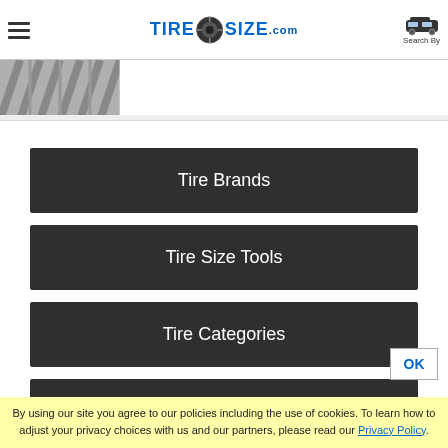TireSize.com — Search By
[Figure (photo): Partial view of a tire tread pattern in grayscale]
Tire Brands
Tire Size Tools
Tire Categories
Popular Sizes
By using our site you agree to our policies including the use of cookies. To learn how to adjust your privacy choices with us and our partners, please read our Privacy Policy.